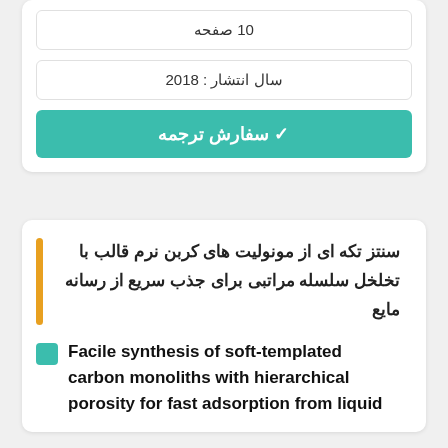10 صفحه
سال انتشار : 2018
✔ سفارش ترجمه
سنتز تکه ای از مونولیت های کربن نرم قالب با تخلخل سلسله مراتبی برای جذب سریع از رسانه مایع
Facile synthesis of soft-templated carbon monoliths with hierarchical porosity for fast adsorption from liquid